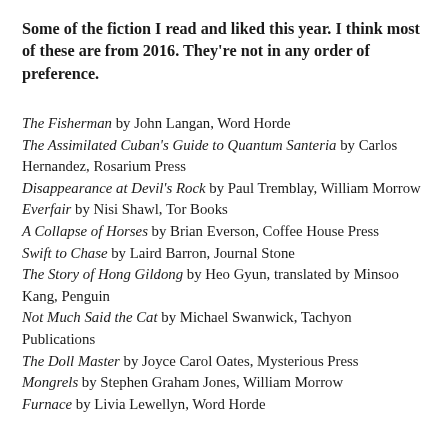Some of the fiction I read and liked this year. I think most of these are from 2016. They're not in any order of preference.
The Fisherman by John Langan, Word Horde
The Assimilated Cuban's Guide to Quantum Santeria by Carlos Hernandez, Rosarium Press
Disappearance at Devil's Rock by Paul Tremblay, William Morrow
Everfair by Nisi Shawl, Tor Books
A Collapse of Horses by Brian Everson, Coffee House Press
Swift to Chase by Laird Barron, Journal Stone
The Story of Hong Gildong by Heo Gyun, translated by Minsoo Kang, Penguin
Not Much Said the Cat by Michael Swanwick, Tachyon Publications
The Doll Master by Joyce Carol Oates, Mysterious Press
Mongrels by Stephen Graham Jones, William Morrow
Furnace by Livia Lewellyn, Word Horde